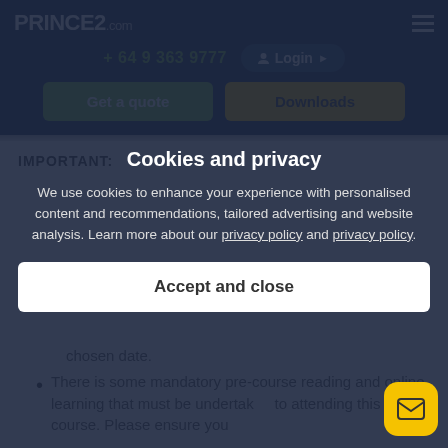PRINCE2.com
+ 64 9 363 9777
Login
Get a quote
Downloads
IMPORTANT:
Cookies and privacy
We use cookies to enhance your experience with personalised content and recommendations, tailored advertising and website analysis. Learn more about our privacy policy and privacy policy.
Accept and close
chosen date.
There is some mandatory pre-course reading and online learning that must be undertaken prior to attending this course. Please ensure you